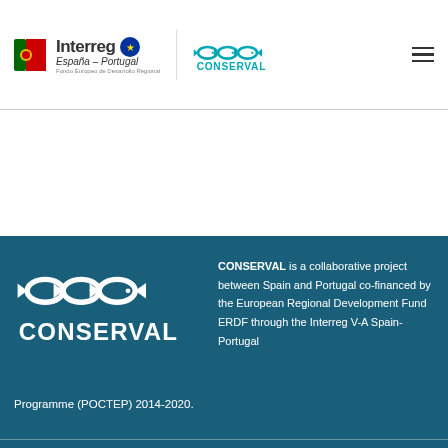[Figure (logo): Interreg España-Portugal EU logo and CONSERVAL fish logo in white header bar]
[Figure (logo): CONSERVAL large white logo with fish/DNA icon on dark teal background]
CONSERVAL is a collaborative project between Spain and Portugal co-financed by the European Regional Development Fund ERDF through the Interreg V-A Spain-Portugal Programme (POCTEP) 2014-2020.